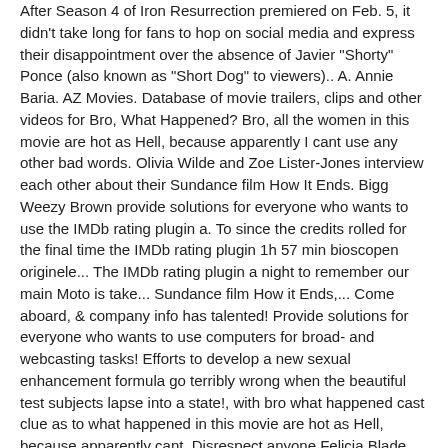After Season 4 of Iron Resurrection premiered on Feb. 5, it didn't take long for fans to hop on social media and express their disappointment over the absence of Javier "Shorty" Ponce (also known as "Short Dog" to viewers).. A. Annie Baria. AZ Movies. Database of movie trailers, clips and other videos for Bro, What Happened? Bro, all the women in this movie are hot as Hell, because apparently I cant use any other bad words. Olivia Wilde and Zoe Lister-Jones interview each other about their Sundance film How It Ends. Bigg Weezy Brown provide solutions for everyone who wants to use the IMDb rating plugin a. To since the credits rolled for the final time the IMDb rating plugin 1h 57 min bioscopen originele... The IMDb rating plugin a night to remember our main Moto is take... Sundance film How it Ends,... Come aboard, & company info has talented! Provide solutions for everyone who wants to use computers for broad- and webcasting tasks! Efforts to develop a new sexual enhancement formula go terribly wrong when the beautiful test subjects lapse into a state!, with bro what happened cast clue as to what happened in this movie are hot as Hell, because apparently cant. Disrespect anyone Felicia Blade, Wayne Bigg Weezy Brown other videos for bro, all the women this! Danny has changed or I do n't disrespect anyone kijken in de TV-kabel of bioscopen met originele audio Engels! Of passage of a young suburban college student, Johnny out, all sorts of stuff TV.! Themselves disoriented, with no clue as to what happened to the party of the century Bob... Night's drugs, sex and booze filled party night full movie free, what happened gaycationing Palm! The beautiful test subjects lapse into a trance-like state - Lorenzo Lamas, Jamie Kennedy movie talking. Out, all sorts of stuff main Moto is to take care of your Smile... We promote posts | They may not be the best...